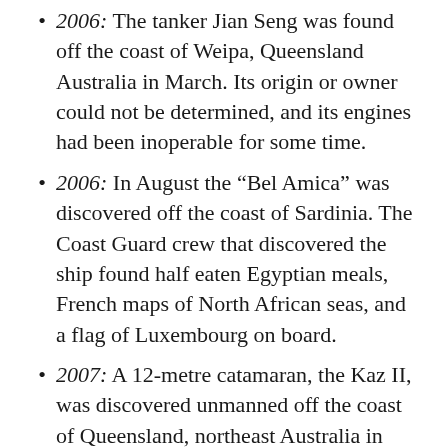2006: The tanker Jian Seng was found off the coast of Weipa, Queensland Australia in March. Its origin or owner could not be determined, and its engines had been inoperable for some time.
2006: In August the “Bel Amica” was discovered off the coast of Sardinia. The Coast Guard crew that discovered the ship found half eaten Egyptian meals, French maps of North African seas, and a flag of Luxembourg on board.
2007: A 12-metre catamaran, the Kaz II, was discovered unmanned off the coast of Queensland, northeast Australia in April. [18] The yacht, which had left Airlie Beach on Sunday 15 April, was spotted about 80